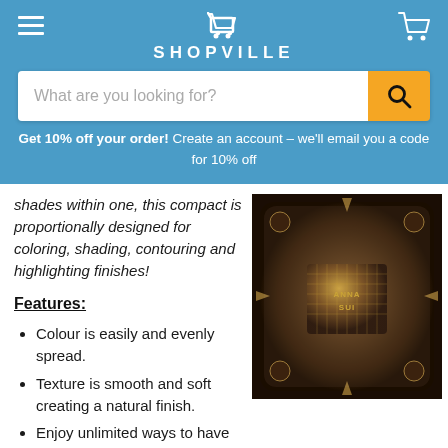SHOPVILLE
What are you looking for?
Get 10% off your order! Create an account - we'll email you a code for 10% off
shades within one, this compact is proportionally designed for coloring, shading, contouring and highlighting finishes!
Features:
Colour is easily and evenly spread.
Texture is smooth and soft creating a natural finish.
Enjoy unlimited ways to have fun with your cheek color makeup
[Figure (photo): Anna Sui ornate decorative compact/palette with intricate crystal-cut dark metallic design and embossed brand name in center]